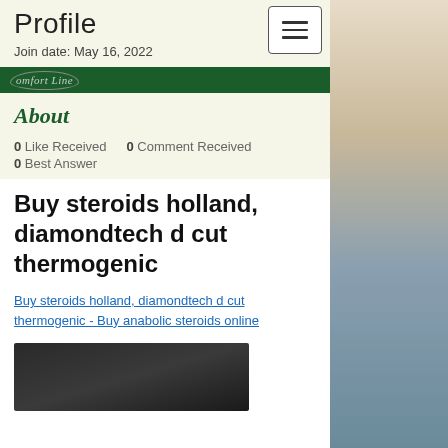Profile
Join date: May 16, 2022
[Figure (logo): Comfort Line logo in oval shape on green bar]
About
0 Like Received   0 Comment Received
0 Best Answer
Buy steroids holland, diamondtech d cut thermogenic
Buy steroids holland, diamondtech d cut thermogenic - Buy anabolic steroids online
[Figure (photo): Dark blurred photo at bottom of page]